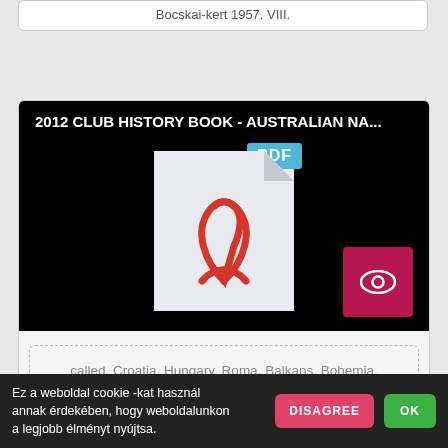Bocskai-kert 1957. VIII.
[Figure (screenshot): PDF document preview tile with black background showing title '2012 CLUB HISTORY BOOK - AUSTRALIAN NA...' and a PDF file icon with blue PDF badge, and a pink eye/view button in bottom right corner]
called, Croatia, Hungary, Roma, Balkans, Bohemia, Hollandia, ... presence in the ACT such as Croatia and Juventus, they have had various name changes over ...
Ez a weboldal cookie -kat használ annak érdekében, hogy weboldalunkon a legjobb élményt nyújtsa.